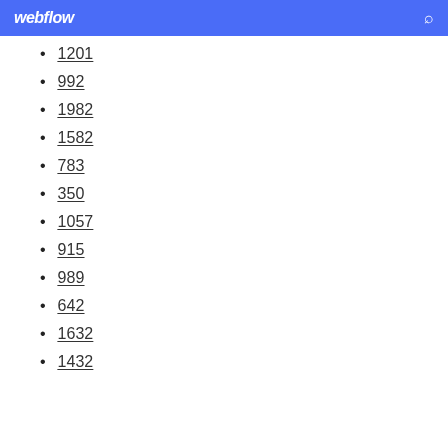webflow
1201
992
1982
1582
783
350
1057
915
989
642
1632
1432